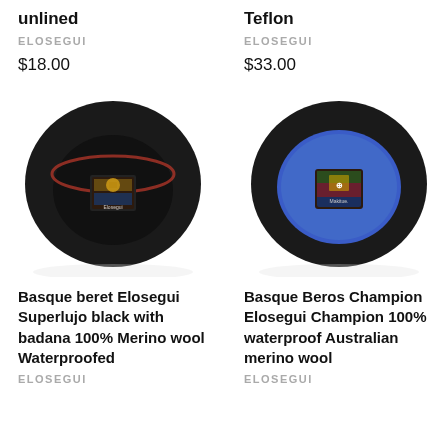unlined
ELOSEGUI
$18.00
Teflon
ELOSEGUI
$33.00
[Figure (photo): Bottom view of a black Basque beret showing interior with a decorative label/badge, with a red inner band visible]
[Figure (photo): Bottom view of a black Basque beret showing interior with a bright blue lining and a decorative label/badge in the center]
Basque beret Elosegui Superlujo black with badana 100% Merino wool Waterproofed
ELOSEGUI
Basque Beros Champion Elosegui Champion 100% waterproof Australian merino wool
ELOSEGUI